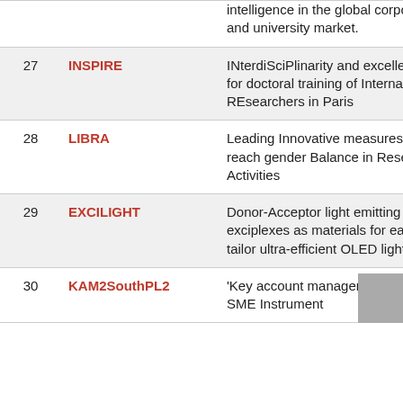| # | Name | Description |
| --- | --- | --- |
|  |  | intelligence in the global corporate and university market. |
| 27 | INSPIRE | INterdiSciPlinarity and excellence for doctoral training of International REsearchers in Paris |
| 28 | LIBRA | Leading Innovative measures to reach gender Balance in Research Activities |
| 29 | EXCILIGHT | Donor-Acceptor light emitting exciplexes as materials for easily to tailor ultra-efficient OLED lighting |
| 30 | KAM2SouthPL2 | 'Key account management' for the SME Instrument |